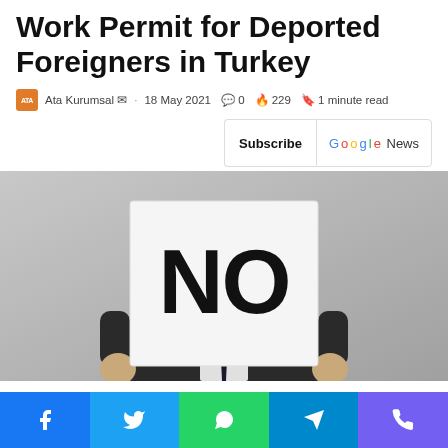Work Permit for Deported Foreigners in Turkey
Ata Kurumsal · 18 May 2021 · 0 · 229 · 1 minute read
Subscribe Google News
[Figure (photo): Person in dark suit holding up a white sign with 'NO' written in large black letters, covering their face]
Social share buttons: Facebook, Twitter, WhatsApp, Telegram, Viber